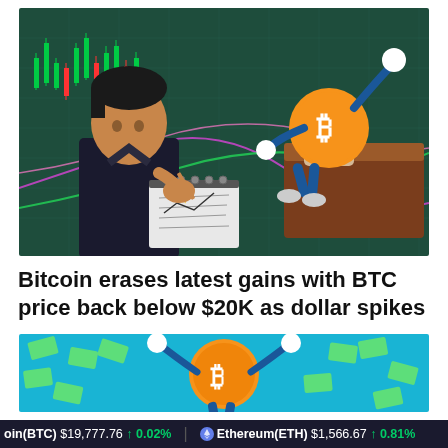[Figure (illustration): Cartoon illustration of a man in a dark suit writing in a notebook while a personified Bitcoin logo character reclines on a couch/bed against a backdrop of trading charts with candlesticks and colored lines]
Bitcoin erases latest gains with BTC price back below $20K as dollar spikes
[Figure (illustration): Cartoon illustration of a personified Bitcoin coin character surrounded by flying dollar bills on a cyan/blue background]
Bitcoin(BTC) $19,777.76 ↑ 0.02%   Ethereum(ETH) $1,566.67 ↑ 0.81%